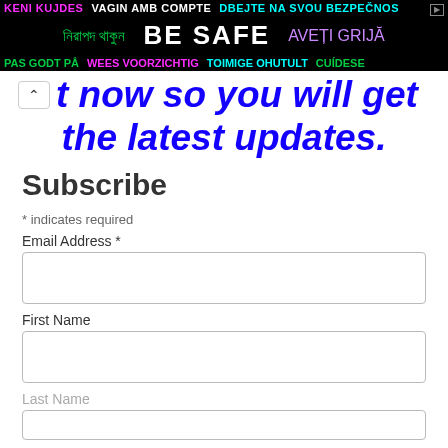[Figure (infographic): Multilingual public safety banner ad on black background with text in multiple languages including 'KENI KUJDES', 'VAGIN AMB COMPTE', 'DBEJTE NA SVOU BEZPEČNOS', 'নিরাপদ থাকুন', 'BE SAFE', 'AVEȚI GRIJĂ', 'PAS GODT PÅ', 'WEES VOORZICHTIG', 'TOIMIGE OHUTULT', 'CUÍDESE']
t now so you will get the latest updates.
Subscribe
* indicates required
Email Address *
First Name
Last Name